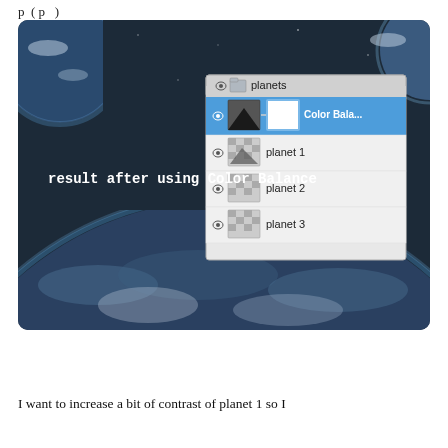p ( p )
[Figure (screenshot): Screenshot showing a Photoshop layers panel with 'planets' group containing Color Balance adjustment layer, planet 1, planet 2, planet 3 layers, overlaid on a space scene with planets and a large planet surface in the foreground. Caption reads 'result after using Color Balance'.]
I want to increase a bit of contrast of planet 1 so I